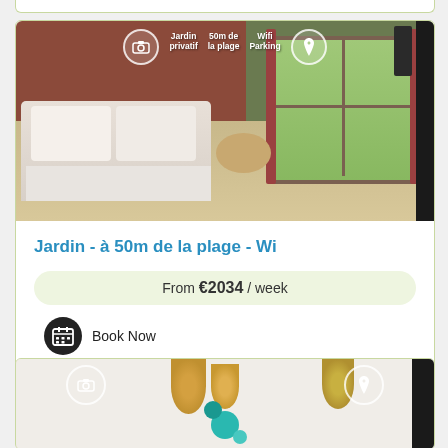[Figure (photo): Partial card remnant at top of page (white card with green border, cut off)]
[Figure (photo): Rental listing card showing a bedroom with red/brown walls, white bed linens, sliding glass doors opening to a garden. Photo overlaid with icons: camera, Jardin privatif, 50m de la plage, Wifi, Parking, location pin.]
Jardin - à 50m de la plage - Wi
From €2034 / week
Book Now
[Figure (photo): Partial second listing card at bottom of page, showing room interior with hanging gold/wicker lamps, teal circular decorations, and white walls. Camera icon and location pin icon visible at top.]